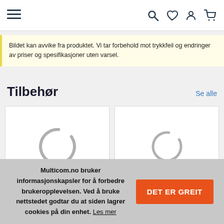≡  🔍 ♡ 👤 🛒
Bildet kan avvike fra produktet. Vi tar forbehold mot trykkfeil og endringer av priser og spesifikasjoner uten varsel.
Tilbehør
Se alle
[Figure (other): Loading spinner circle placeholder for product card 1]
[Figure (other): Loading spinner circle placeholder for product card 2]
Multicom.no bruker informasjonskapsler for å forbedre brukeropplevelsen. Ved å bruke nettstedet godtar du at siden lagrer cookies på din enhet. Les mer
DET ER GREIT